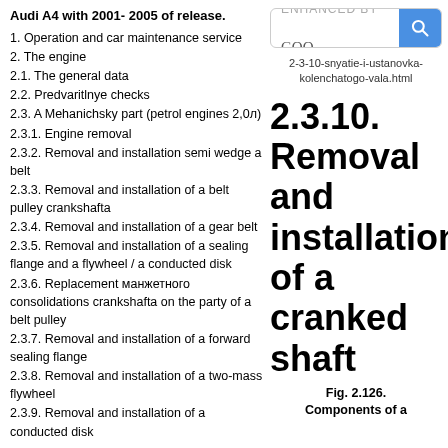Audi A4 with 2001- 2005 of release.
1. Operation and car maintenance service
2. The engine
2.1. The general data
2.2. Predvaritlnye checks
2.3. A Mehanichsky part (petrol engines 2,0л)
2.3.1. Engine removal
2.3.2. Removal and installation semi wedge a belt
2.3.3. Removal and installation of a belt pulley crankshafta
2.3.4. Removal and installation of a gear belt
2.3.5. Removal and installation of a sealing flange and a flywheel / a conducted disk
2.3.6. Replacement манжетного consolidations crankshafta on the party of a belt pulley
2.3.7. Removal and installation of a forward sealing flange
2.3.8. Removal and installation of a two-mass flywheel
2.3.9. Removal and installation of a conducted disk
[Figure (screenshot): Enhanced by Google search bar]
2-3-10-snyatie-i-ustanovka-kolenchatogo-vala.html
2.3.10. Removal and installation of a cranked shaft
Fig. 2.126.
Components of a